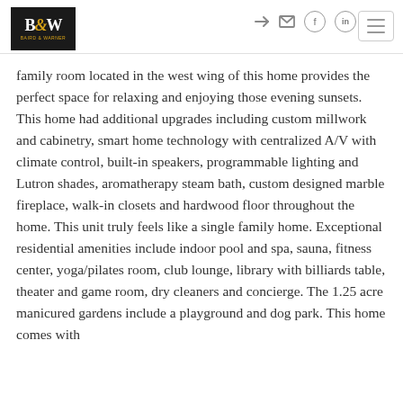B&W logo header with navigation icons
family room located in the west wing of this home provides the perfect space for relaxing and enjoying those evening sunsets. This home had additional upgrades including custom millwork and cabinetry, smart home technology with centralized A/V with climate control, built-in speakers, programmable lighting and Lutron shades, aromatherapy steam bath, custom designed marble fireplace, walk-in closets and hardwood floor throughout the home. This unit truly feels like a single family home. Exceptional residential amenities include indoor pool and spa, sauna, fitness center, yoga/pilates room, club lounge, library with billiards table, theater and game room, dry cleaners and concierge. The 1.25 acre manicured gardens include a playground and dog park. This home comes with